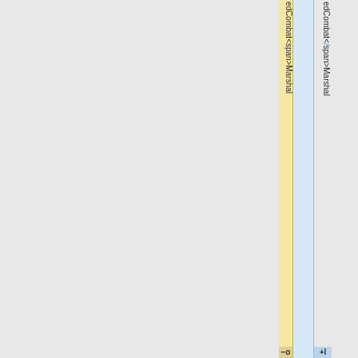[Figure (screenshot): Two narrow vertical columns with highlighted backgrounds (yellow and blue) on the right side of the page. Each column contains vertically-oriented text reading 'edCombat<span>Marshal' character by character top to bottom. The blue column contains a pencil/edit icon between '<' and 's'. At the bottom, the yellow column has a minus (-) button and the blue column has a plus (+) button.]